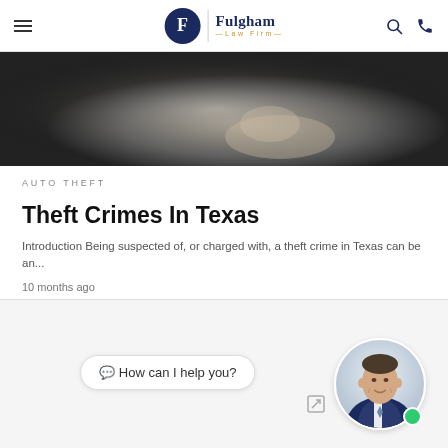Fulgham Law Firm
[Figure (photo): Black and white photo of a person with hand near face, partially cropped]
AUTO THEFT
Theft Crimes In Texas
Introduction Being suspected of, or charged with, a theft crime in Texas can be an...
10 months ago
[Figure (screenshot): Chat widget with avatar photo of a man in a suit and speech bubble saying 'How can I help you?']